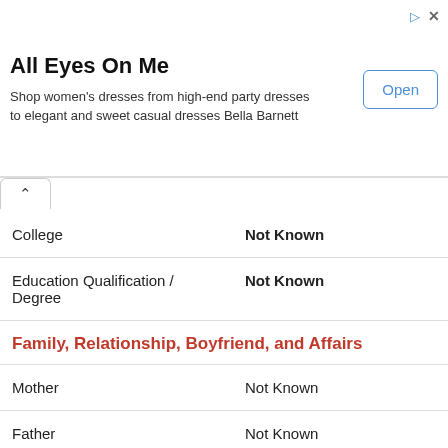[Figure (screenshot): Advertisement banner for 'All Eyes On Me' women's dresses shop with Open button]
| College | Not Known |
| Education Qualification / Degree | Not Known |
| Family, Relationship, Boyfriend, and Affairs |  |
| Mother | Not Known |
| Father | Not Known |
| Sister/Brother | Not Known |